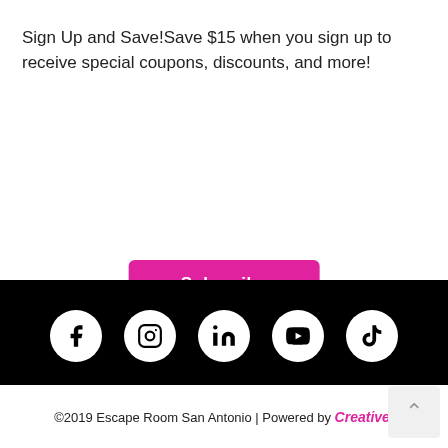Sign Up and Save!Save $15 when you sign up to receive special coupons, discounts, and more!
Subscribe
[Figure (other): Black background section with five white circle social media icons: Facebook, Instagram, LinkedIn, YouTube, TikTok, with decorative sparkle/star shapes]
©2019 Escape Room San Antonio | Powered by Creative.